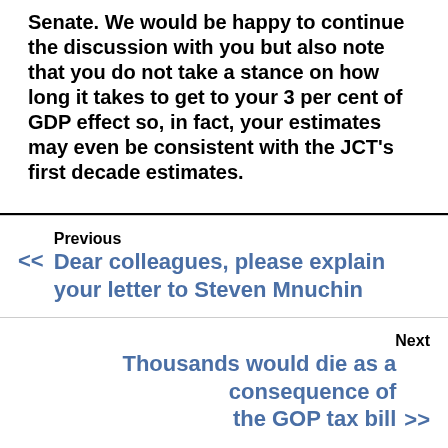Senate. We would be happy to continue the discussion with you but also note that you do not take a stance on how long it takes to get to your 3 per cent of GDP effect so, in fact, your estimates may even be consistent with the JCT's first decade estimates.
Previous
<< Dear colleagues, please explain your letter to Steven Mnuchin
Next
Thousands would die as a consequence of the GOP tax bill >>